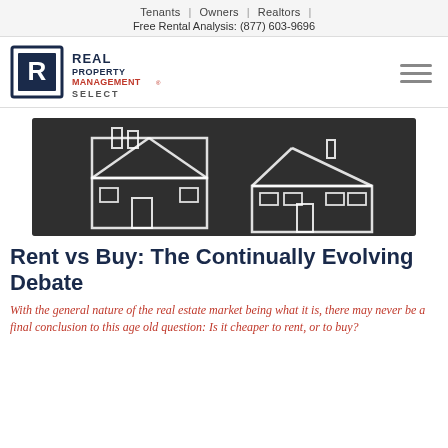Tenants | Owners | Realtors
Free Rental Analysis: (877) 603-9696
[Figure (logo): Real Property Management SELECT logo with stylized R icon]
[Figure (photo): Chalk drawings of two houses on a dark chalkboard background]
Rent vs Buy: The Continually Evolving Debate
With the general nature of the real estate market being what it is, there may never be a final conclusion to this age old question: Is it cheaper to rent, or to buy?